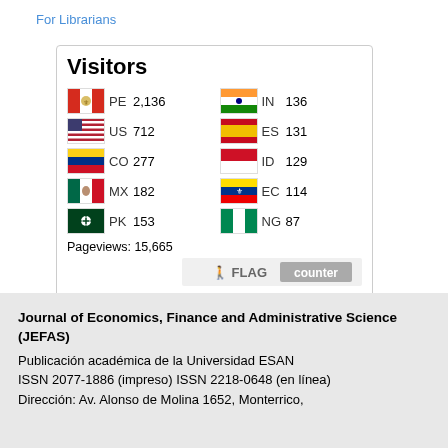For Librarians
[Figure (infographic): Visitors widget showing country flags with visitor counts. PE 2,136 | IN 136 | US 712 | ES 131 | CO 277 | ID 129 | MX 182 | EC 114 | PK 153 | NG 87 | Pageviews: 15,665 | FLAG counter logo]
Journal of Economics, Finance and Administrative Science (JEFAS)
Publicación académica de la Universidad ESAN
ISSN 2077-1886 (impreso) ISSN 2218-0648 (en línea)
Dirección: Av. Alonso de Molina 1652, Monterrico,